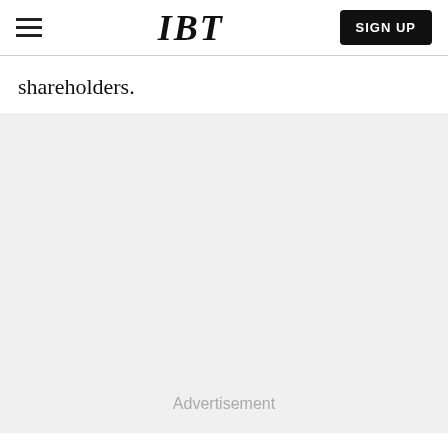IBT | SIGN UP
shareholders.
Advertisement